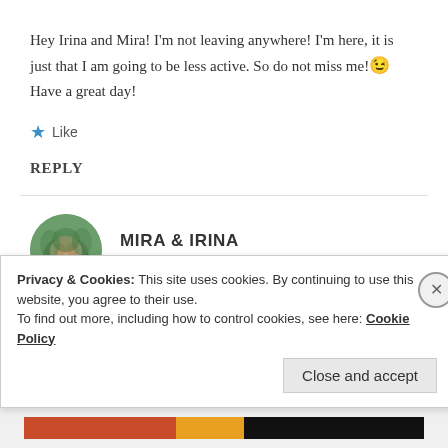Hey Irina and Mira! I'm not leaving anywhere! I'm here, it is just that I am going to be less active. So do not miss me! 😉 Have a great day!
★ Like
REPLY
MIRA & IRINA
19 Apr 2019 at 3:59 pm
Privacy & Cookies: This site uses cookies. By continuing to use this website, you agree to their use. To find out more, including how to control cookies, see here: Cookie Policy
Close and accept